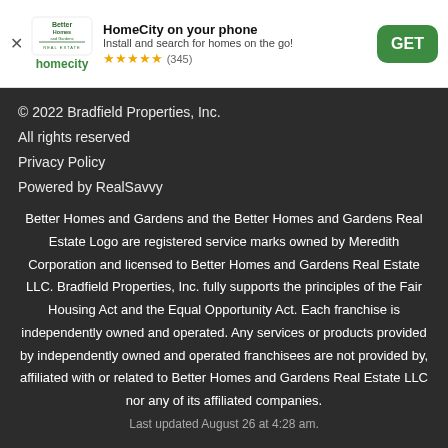[Figure (screenshot): App install banner for HomeCity (Better Homes and Gardens Real Estate) with logo, title, subtitle, star rating of 5 stars (345 reviews), and a green GET button]
© 2022 Bradfield Properties, Inc.
All rights reserved
Privacy Policy
Powered by RealSavvy
Better Homes and Gardens and the Better Homes and Gardens Real Estate Logo are registered service marks owned by Meredith Corporation and licensed to Better Homes and Gardens Real Estate LLC. Bradfield Properties, Inc. fully supports the principles of the Fair Housing Act and the Equal Opportunity Act. Each franchise is independently owned and operated. Any services or products provided by independently owned and operated franchisees are not provided by, affiliated with or related to Better Homes and Gardens Real Estate LLC nor any of its affiliated companies.
Last updated August 26 at 4:28 am.